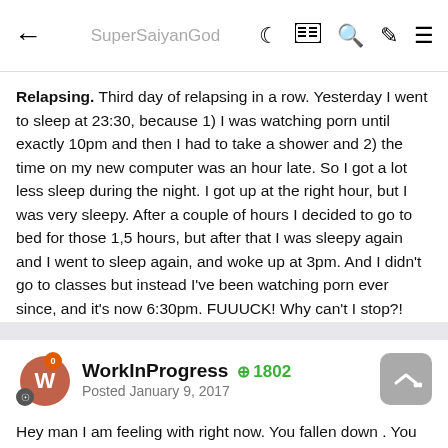SuperSaiyanGod
Relapsing. Third day of relapsing in a row. Yesterday I went to sleep at 23:30, because 1) I was watching porn until exactly 10pm and then I had to take a shower and 2) the time on my new computer was an hour late. So I got a lot less sleep during the night. I got up at the right hour, but I was very sleepy. After a couple of hours I decided to go to bed for those 1,5 hours, but after that I was sleepy again and I went to sleep again, and woke up at 3pm. And I didn't go to classes but instead I've been watching porn ever since, and it's now 6:30pm. FUUUCK! Why can't I stop?! Right now the only thing I want to do is go buy junk food and eat it while watching some tv show well into the night.
WorkInProgress
Posted January 9, 2017
+1802
Hey man I am feeling with right now. You fallen down . You did this. You failed. Shit hit the fan. Face it. It means that you did a